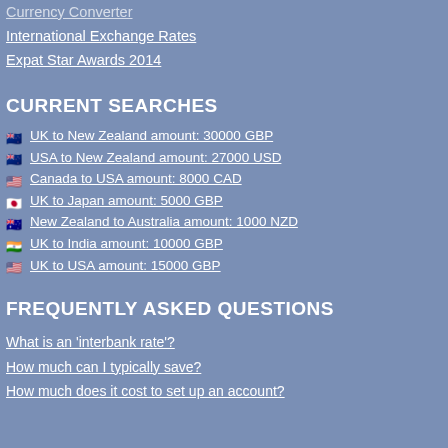Currency Converter
International Exchange Rates
Expat Star Awards 2014
CURRENT SEARCHES
UK to New Zealand amount: 30000 GBP
USA to New Zealand amount: 27000 USD
Canada to USA amount: 8000 CAD
UK to Japan amount: 5000 GBP
New Zealand to Australia amount: 1000 NZD
UK to India amount: 10000 GBP
UK to USA amount: 15000 GBP
FREQUENTLY ASKED QUESTIONS
What is an 'interbank rate'?
How much can I typically save?
How much does it cost to set up an account?